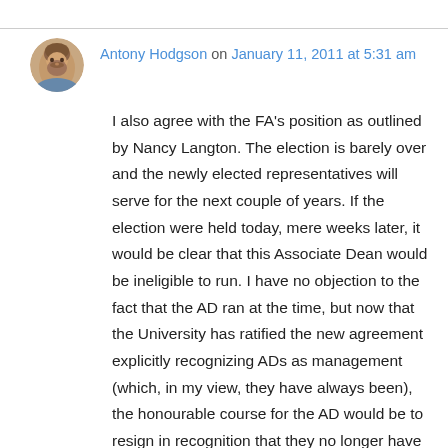Antony Hodgson on January 11, 2011 at 5:31 am
I also agree with the FA's position as outlined by Nancy Langton. The election is barely over and the newly elected representatives will serve for the next couple of years. If the election were held today, mere weeks later, it would be clear that this Associate Dean would be ineligible to run. I have no objection to the fact that the AD ran at the time, but now that the University has ratified the new agreement explicitly recognizing ADs as management (which, in my view, they have always been), the honourable course for the AD would be to resign in recognition that they no longer have the moral authority to fulfill their intended function. To do otherwise would be...